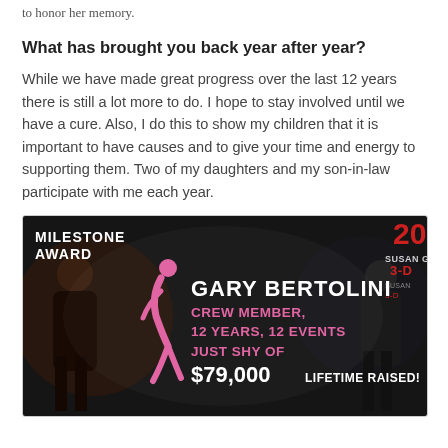to honor her memory.
What has brought you back year after year?
While we have made great progress over the last 12 years there is still a lot more to do. I hope to stay involved until we have a cure. Also, I do this to show my children that it is important to have causes and to give your time and energy to supporting them. Two of my daughters and my son-in-law participate with me each year.
[Figure (photo): Photo of a milestone award display screen showing 'GARY BERTOLINI CREW MEMBER, 12 YEARS, 12 EVENTS JUST SHY OF $79,000 LIFETIME RAISED!' with a pink ribbon logo on a dark background. Partial text on right shows '20', 'SUSAN G', '3-D'. People are visible in silhouette on the sides.]